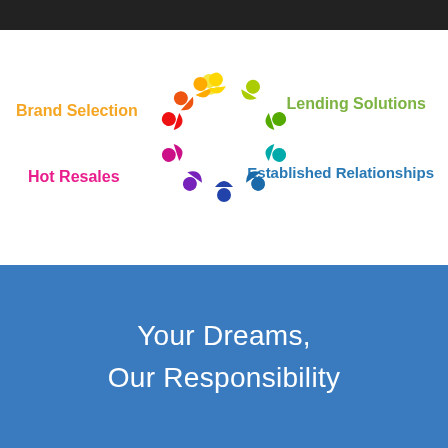[Figure (logo): Circular logo made of colorful human figures arranged in a ring, with four labeled categories: Brand Selection (orange), Lending Solutions (green), Hot Resales (pink/magenta), Established Relationships (blue). The figures form a rainbow-colored circle.]
Your Dreams, Our Responsibility